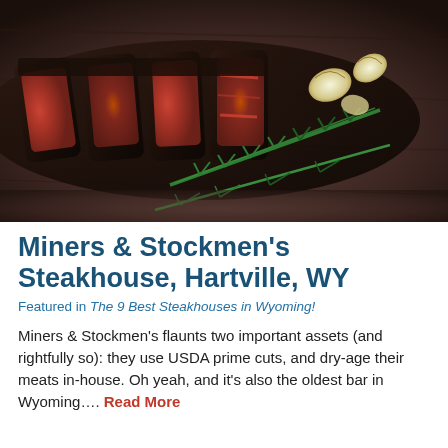[Figure (photo): Close-up photo of sliced grilled steak on a wooden board with rosemary sprigs and roasted garlic cloves.]
Miners & Stockmen's Steakhouse, Hartville, WY
Featured in The 9 Best Steakhouses in Wyoming!
Miners & Stockmen's flaunts two important assets (and rightfully so): they use USDA prime cuts, and dry-age their meats in-house. Oh yeah, and it's also the oldest bar in Wyoming…. Read More